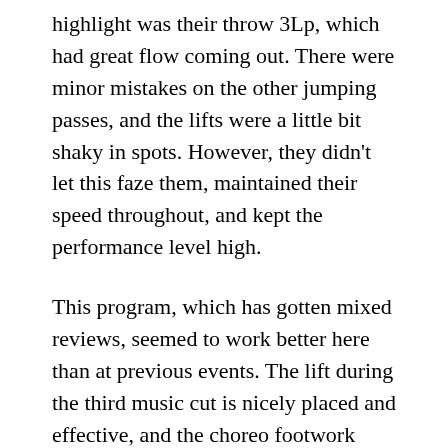highlight was their throw 3Lp, which had great flow coming out. There were minor mistakes on the other jumping passes, and the lifts were a little bit shaky in spots. However, they didn't let this faze them, maintained their speed throughout, and kept the performance level high.
This program, which has gotten mixed reviews, seemed to work better here than at previous events. The lift during the third music cut is nicely placed and effective, and the choreo footwork sequence during the final cut is crowd-pleasing and fun and got some +2s. It was a good performance, and Valentina especially really sold it to the hilt. A lot of skaters might shy away from the cheese potential of this program, but Valentina just goes for it!